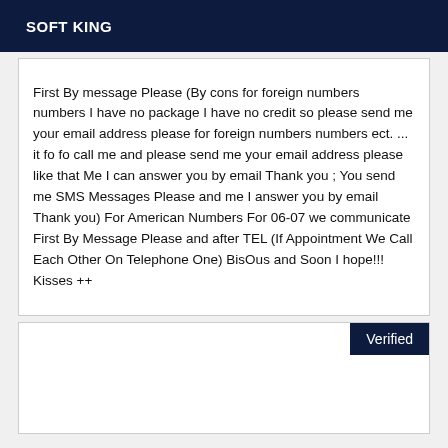SOFT KING
First By message Please (By cons for foreign numbers numbers I have no package I have no credit so please send me your email address please for foreign numbers numbers ect. ... it fo fo call me and please send me your email address please like that Me I can answer you by email Thank you ; You send me SMS Messages Please and me I answer you by email Thank you) For American Numbers For 06-07 we communicate First By Message Please and after TEL (If Appointment We Call Each Other On Telephone One) BisOus and Soon I hope!!! Kisses ++
[Figure (other): White box with a dark navy 'Verified' badge in the top-right corner]